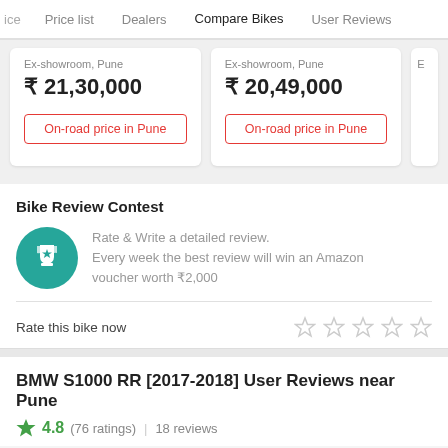ice  Price list  Dealers  Compare Bikes  User Reviews
Ex-showroom, Pune
₹ 21,30,000
On-road price in Pune
Ex-showroom, Pune
₹ 20,49,000
On-road price in Pune
Bike Review Contest
Rate & Write a detailed review. Every week the best review will win an Amazon voucher worth ₹2,000
Rate this bike now
BMW S1000 RR [2017-2018] User Reviews near Pune
4.8  (76 ratings)  |  18 reviews